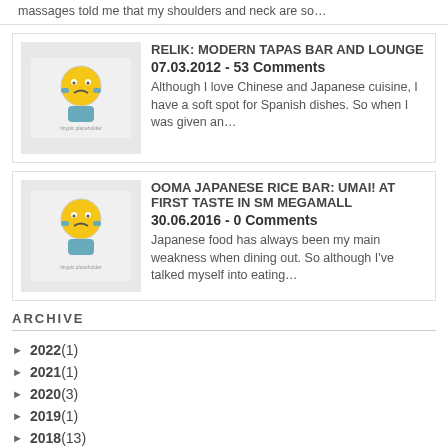massages told me that my shoulders and neck are so…
RELIK: MODERN TAPAS BAR AND LOUNGE
07.03.2012 - 53 Comments
Although I love Chinese and Japanese cuisine, I have a soft spot for Spanish dishes. So when I was given an…
OOMA JAPANESE RICE BAR: UMAI! AT FIRST TASTE IN SM MEGAMALL
30.06.2016 - 0 Comments
Japanese food has always been my main weakness when dining out. So although I've talked myself into eating…
ARCHIVE
► 2022 (1)
► 2021 (1)
► 2020 (3)
► 2019 (1)
► 2018 (13)
► 2017 (53)
► 2016 (53)